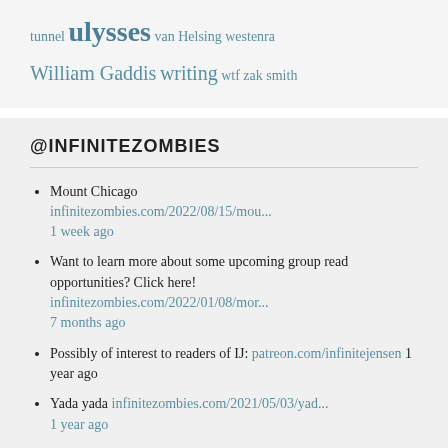tunnel ulysses van Helsing westenra William Gaddis writing wtf zak smith
@INFINITEZOMBIES
Mount Chicago
infinitezombies.com/2022/08/15/mou...
1 week ago
Want to learn more about some upcoming group read opportunities? Click here!
infinitezombies.com/2022/01/08/mor...
7 months ago
Possibly of interest to readers of IJ:
patreon.com/infinitejensen 1 year ago
Yada yada infinitezombies.com/2021/05/03/yad...
1 year ago